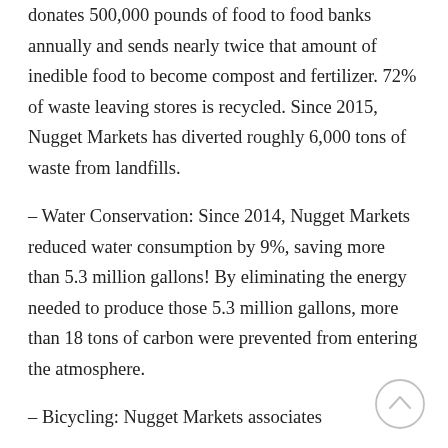donates 500,000 pounds of food to food banks annually and sends nearly twice that amount of inedible food to become compost and fertilizer. 72% of waste leaving stores is recycled. Since 2015, Nugget Markets has diverted roughly 6,000 tons of waste from landfills.
– Water Conservation: Since 2014, Nugget Markets reduced water consumption by 9%, saving more than 5.3 million gallons! By eliminating the energy needed to produce those 5.3 million gallons, more than 18 tons of carbon were prevented from entering the atmosphere.
– Bicycling: Nugget Markets associates